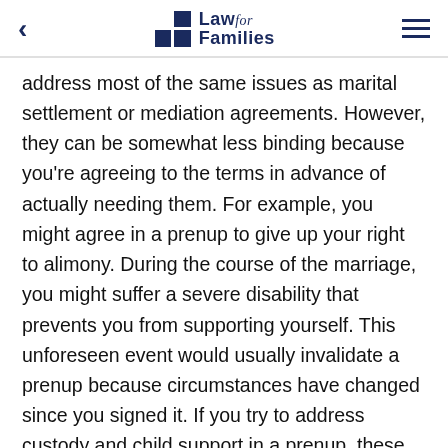Law for Families
address most of the same issues as marital settlement or mediation agreements. However, they can be somewhat less binding because you're agreeing to the terms in advance of actually needing them. For example, you might agree in a prenup to give up your right to alimony. During the course of the marriage, you might suffer a severe disability that prevents you from supporting yourself. This unforeseen event would usually invalidate a prenup because circumstances have changed since you signed it. If you try to address custody and child support in a prenup, these issues are not binding either. You can't agree to custody of a child you don't have yet, and a parent can't legally